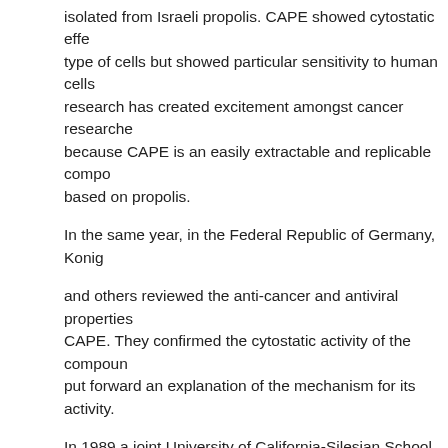isolated from Israeli propolis. CAPE showed cytostatic effects on every type of cells but showed particular sensitivity to human cells. This research has created excitement amongst cancer researchers, partly because CAPE is an easily extractable and replicable compound, based on propolis.
In the same year, in the Federal Republic of Germany, Konig
and others reviewed the anti-cancer and antiviral properties of CAPE. They confirmed the cytostatic activity of the compound and put forward an explanation of the mechanism for its activity.
In 1989 a joint University of California-Silesian School of M... study70 compared the e[ffectiveness of EEP with the...] bleomycin on mice infect[ed...] the survival rate of the m[ice...]
[Figure (photo): Product Highlight popup showing a white bottle of Propolis Capsules from ProVital Whole Health, with a green header bar, close (x) button, and footer showing product name 'Propolis Capsules' and price £11.65]
50 per cent for the group[...] those treated with bleom[ycin...] tumoral property of EEP i[s...] significant and lasting.